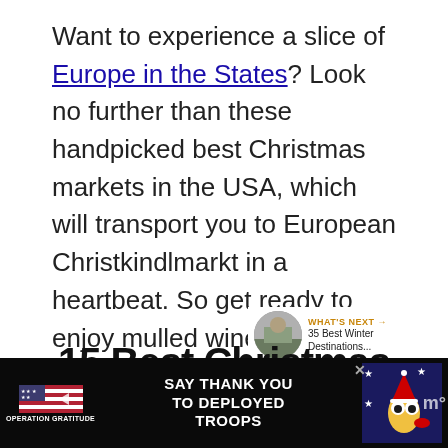Want to experience a slice of Europe in the States? Look no further than these handpicked best Christmas markets in the USA, which will transport you to European Christkindlmarkt in a heartbeat. So get ready to enjoy mulled wine, hot chocolate, festive lights, glass ornaments, wooden toys, schnitzels, and more!
15 Best Christmas...
[Figure (photo): Small circular thumbnail of a winter destination scene]
WHAT'S NEXT → 35 Best Winter Destinations...
[Figure (infographic): Advertisement banner: Operation Gratitude - Say Thank You To Deployed Troops, with American flag imagery and cartoon character]